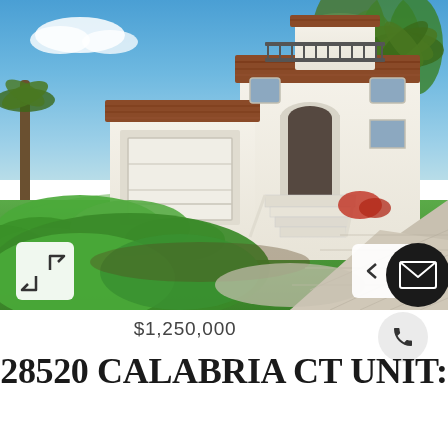[Figure (photo): Exterior photo of a two-story Mediterranean-style white stucco home with terracotta tile roofs, a two-car garage, grand entry staircase, balcony, palm trees and lush green landscaping with a paver driveway]
$1,250,000
28520 CALABRIA CT UNIT: